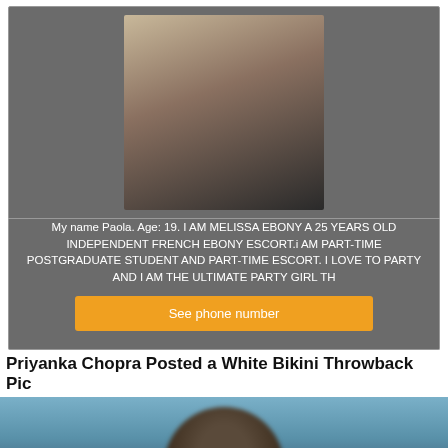[Figure (photo): Photo of a woman with blonde hair wearing a black top]
My name Paola. Age: 19. I AM MELISSA EBONY A 25 YEARS OLD INDEPENDENT FRENCH EBONY ESCORT.i AM PART-TIME POSTGRADUATE STUDENT AND PART-TIME ESCORT. I LOVE TO PARTY AND I AM THE ULTIMATE PARTY GIRL TH
See phone number
Priyanka Chopra Posted a White Bikini Throwback Pic
[Figure (photo): Blurred photo of a person at a beach or waterside location]